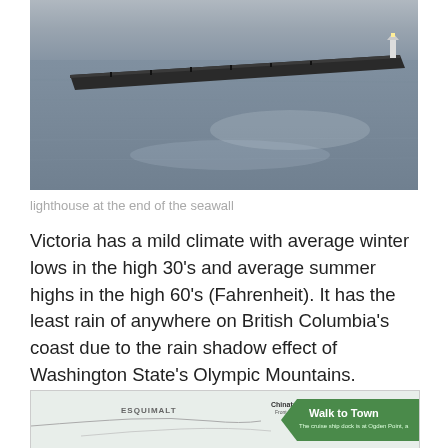[Figure (photo): Photograph of a long pier/seawall extending into calm grey water, with a lighthouse visible at the far end. People can be seen on the pier. The sky is overcast and grey, giving the water a silvery appearance.]
lighthouse at the end of the seawall
Victoria has a mild climate with average winter lows in the high 30's and average summer highs in the high 60's (Fahrenheit). It has the least rain of anywhere on British Columbia's coast due to the rain shadow effect of Washington State's Olympic Mountains.
[Figure (map): Partial map showing Esquimalt area and Chinatown, with a green 'Walk to Town' callout box. Text reads: 'The cruise ship dock is at Ogden Point, a...']